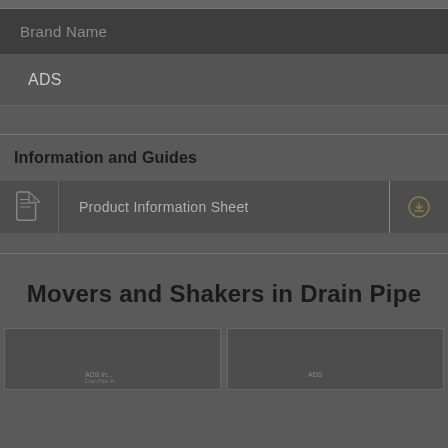| Brand Name |
| --- |
| ADS |
Information and Guides
Product Information Sheet
Movers and Shakers in Drain Pipe
[Figure (other): Two card thumbnails at bottom of page, partially visible, appearing to be product or article cards]